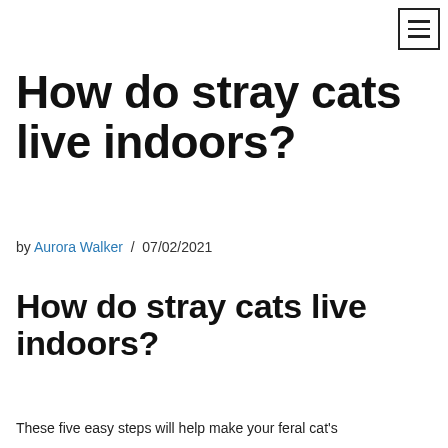[Figure (other): Navigation hamburger menu button (three horizontal lines) in top-right corner]
How do stray cats live indoors?
by Aurora Walker / 07/02/2021
How do stray cats live indoors?
These five easy steps will help make your feral cat's